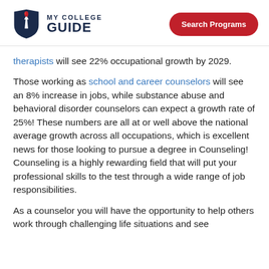MY COLLEGE GUIDE | Search Programs
therapists will see 22% occupational growth by 2029.
Those working as school and career counselors will see an 8% increase in jobs, while substance abuse and behavioral disorder counselors can expect a growth rate of 25%! These numbers are all at or well above the national average growth across all occupations, which is excellent news for those looking to pursue a degree in Counseling! Counseling is a highly rewarding field that will put your professional skills to the test through a wide range of job responsibilities.
As a counselor you will have the opportunity to help others work through challenging life situations and see